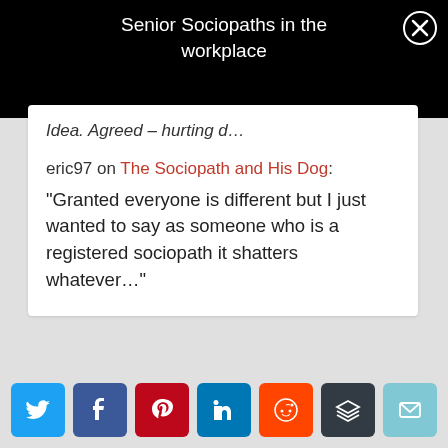Senior Sociopaths in the workplace
Idea. Agreed – hurting d…
eric97 on The Sociopath and His Dog: "Granted everyone is different but I just wanted to say as someone who is a registered sociopath it shatters whatever…"
620